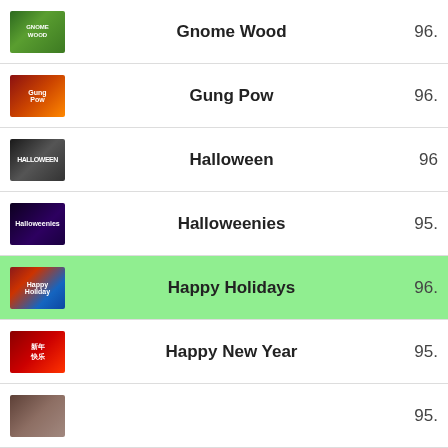Gnome Wood 96.
Gung Pow 96.
Halloween 96
Halloweenies 95.
Happy Holidays 96.
Happy New Year 95.
95.